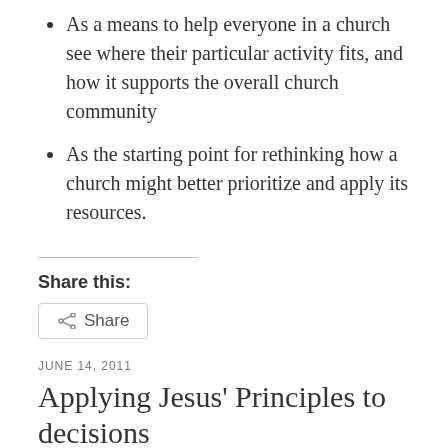As a means to help everyone in a church see where their particular activity fits, and how it supports the overall church community
As the starting point for rethinking how a church might better prioritize and apply its resources.
Share this:
[Figure (other): Share button with share icon]
JUNE 14, 2011
Applying Jesus' Principles to decisions